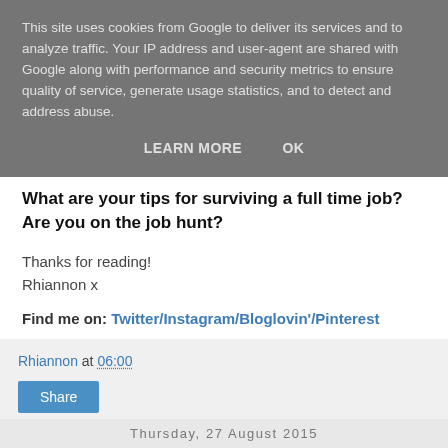This site uses cookies from Google to deliver its services and to analyze traffic. Your IP address and user-agent are shared with Google along with performance and security metrics to ensure quality of service, generate usage statistics, and to detect and address abuse.
LEARN MORE   OK
What are your tips for surviving a full time job? Are you on the job hunt?
Thanks for reading!
Rhiannon x
Find me on: Twitter/Instagram/Bloglovin'/Pinterest
Rhiannon at 06:00
Share
Thursday, 27 August 2015